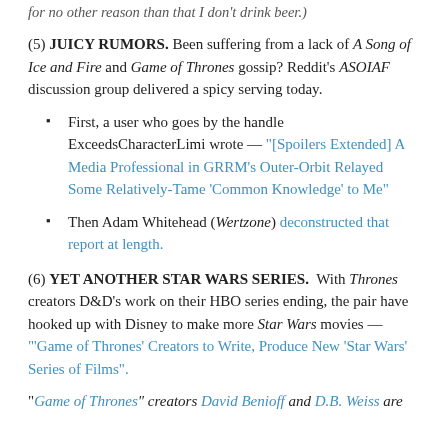for no other reason than that I don't drink beer.)
(5) JUICY RUMORS. Been suffering from a lack of A Song of Ice and Fire and Game of Thrones gossip? Reddit's ASOIAF discussion group delivered a spicy serving today.
First, a user who goes by the handle ExceedsCharacterLimi wrote — "[Spoilers Extended] A Media Professional in GRRM's Outer-Orbit Relayed Some Relatively-Tame 'Common Knowledge' to Me"
Then Adam Whitehead (Wertzone) deconstructed that report at length.
(6) YET ANOTHER STAR WARS SERIES.  With Thrones creators D&D's work on their HBO series ending, the pair have hooked up with Disney to make more Star Wars movies — "'Game of Thrones' Creators to Write, Produce New 'Star Wars' Series of Films".
"Game of Thrones" creators David Benioff and D.B. Weiss are